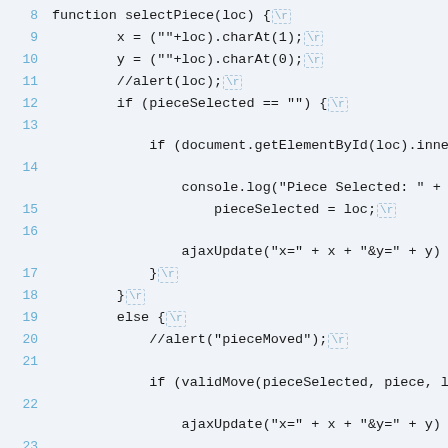[Figure (screenshot): Source code screenshot showing JavaScript function selectPiece(loc) with line numbers 8-26, displaying logic for selecting and moving chess pieces using pieceSelected variable, ajaxUpdate calls, doMove function, and validMove checks. Special characters \r are shown as dashed boxes.]